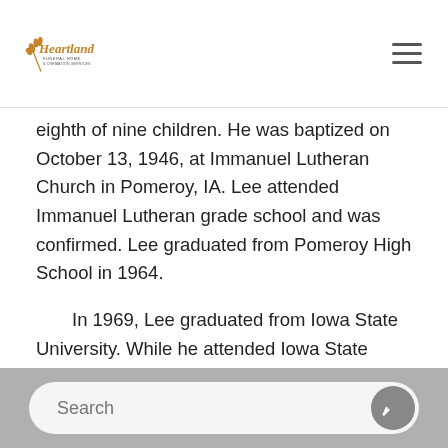Heartland Funeral Home & Cremation Services
eighth of nine children. He was baptized on October 13, 1946, at Immanuel Lutheran Church in Pomeroy, IA. Lee attended Immanuel Lutheran grade school and was confirmed. Lee graduated from Pomeroy High School in 1964.
In 1969, Lee graduated from Iowa State University. While he attended Iowa State College, he served in the Iowa Air National Guard. Following his graduation, he worked as a Claims Adjuster for Equitable Life Insurance in Minneapolis, MN. It was there that he met his future wife, Elaine Anderson. They were united in marriage on September 4, 1976, at Badger Lutheran Church in Badger,
Search